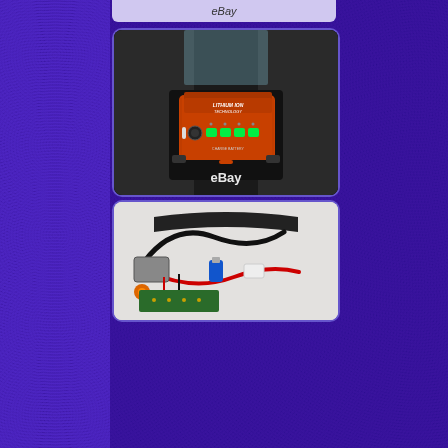[Figure (photo): Close-up photo of a Black & Decker lithium-ion battery unit mounted on power equipment. The orange battery pack has 'LITHIUM ION TECHNOLOGY' label and shows four green LED charge indicator lights. An eBay watermark is visible at the bottom.]
[Figure (photo): Photo of electronic wiring/circuit components on a light background, showing red and black wires connected to various components including what appears to be a blue capacitor and orange connector.]